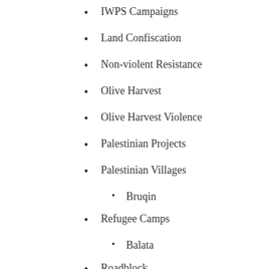IWPS Campaigns
Land Confiscation
Non-violent Resistance
Olive Harvest
Olive Harvest Violence
Palestinian Projects
Palestinian Villages
Bruqin
Refugee Camps
Balata
Roadblock
Soldier Harrassment
Tourism
Villages
Burin
Dier Istyia
Hares